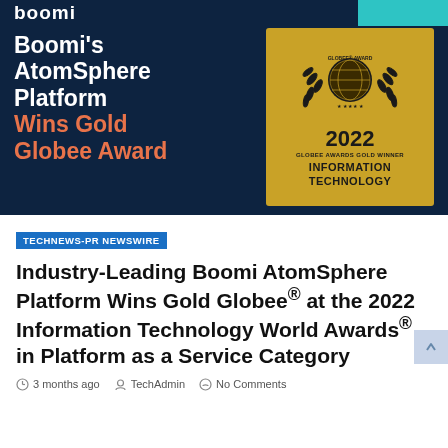[Figure (infographic): Boomi banner with dark navy background showing 'Boomi's AtomSphere Platform Wins Gold Globee Award' in white and orange text on the left, and a gold Globee Awards 2022 Information Technology Gold Winner badge on the right.]
TECHNEWS-PR NEWSWIRE
Industry-Leading Boomi AtomSphere Platform Wins Gold Globee® at the 2022 Information Technology World Awards® in Platform as a Service Category
3 months ago   TechAdmin   No Comments